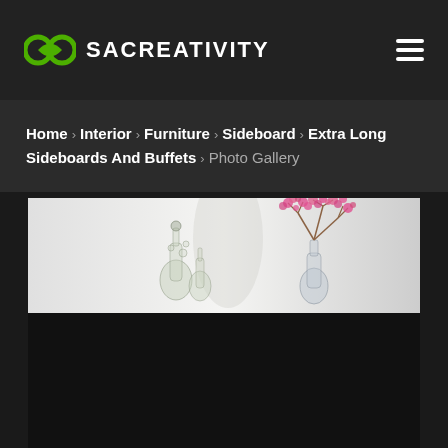SACREATIVITY
Home › Interior › Furniture › Sideboard › Extra Long Sideboards And Buffets › Photo Gallery
[Figure (photo): Photo gallery image showing decorative glass bottles/vases and a vase with pink cherry blossom flowers on what appears to be a sideboard surface, with a light background. Lower portion of image area is dark/black.]